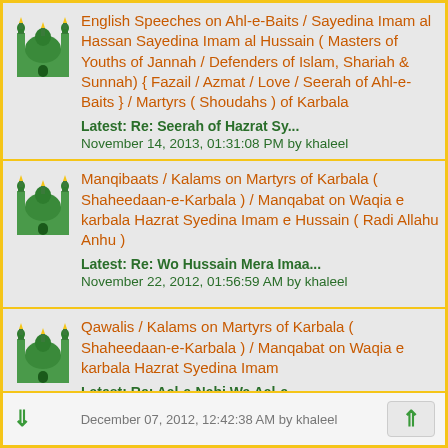English Speeches on Ahl-e-Baits / Sayedina Imam al Hassan Sayedina Imam al Hussain ( Masters of Youths of Jannah / Defenders of Islam, Shariah & Sunnah) { Fazail / Azmat / Love / Seerah of Ahl-e-Baits } / Martyrs ( Shoudahs ) of Karbala
Latest: Re: Seerah of Hazrat Sy...
November 14, 2013, 01:31:08 PM by khaleel
Manqibaats / Kalams on Martyrs of Karbala ( Shaheedaan-e-Karbala ) / Manqabat on Waqia e karbala Hazrat Syedina Imam e Hussain ( Radi Allahu Anhu )
Latest: Re: Wo Hussain Mera Imaa...
November 22, 2012, 01:56:59 AM by khaleel
Qawalis / Kalams on Martyrs of Karbala ( Shaheedaan-e-Karbala ) / Manqabat on Waqia e karbala Hazrat Syedina Imam
Latest: Re: Aal-e-Nabi Wa Aal-e-...
December 07, 2012, 12:42:38 AM by khaleel